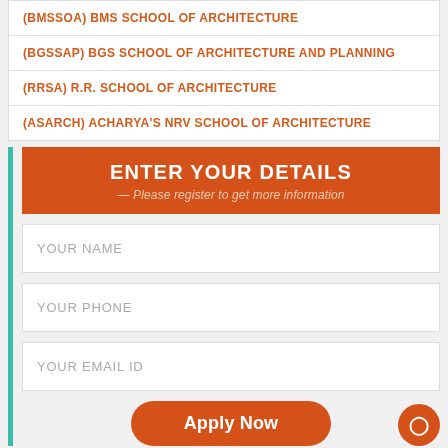(BMSSOA) BMS SCHOOL OF ARCHITECTURE
(BGSSAP) BGS SCHOOL OF ARCHITECTURE AND PLANNING
(RRSA) R.R. SCHOOL OF ARCHITECTURE
(ASARCH) ACHARYA'S NRV SCHOOL OF ARCHITECTURE
ENTER YOUR DETAILS
— Please register to get more information
YOUR NAME
YOUR PHONE
YOUR EMAIL ID
Apply Now